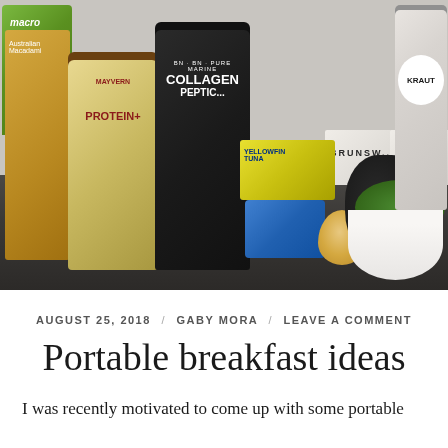[Figure (photo): Photograph of various breakfast food products arranged on a dark counter against a light wall, including a Macro macadamia bag, Mayvern Peanut Butter Protein+ jar, BN Pure Marine Collagen Peptides tub, Yellowfin Tuna pouch, red salmon tin, Brunswick sardine pouches, avocado, an egg, a bowl of greens, and a Kraut jar.]
AUGUST 25, 2018 / GABY MORA / LEAVE A COMMENT
Portable breakfast ideas
I was recently motivated to come up with some portable